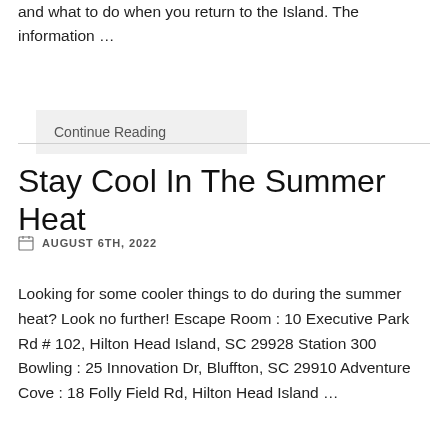and what to do when you return to the Island. The information …
Continue Reading
Stay Cool In The Summer Heat
AUGUST 6TH, 2022
Looking for some cooler things to do during the summer heat? Look no further! Escape Room : 10 Executive Park Rd # 102, Hilton Head Island, SC 29928 Station 300 Bowling : 25 Innovation Dr, Bluffton, SC 29910 Adventure Cove : 18 Folly Field Rd, Hilton Head Island, SC 29928 The Zone : 100 Pemberton Place Suite …